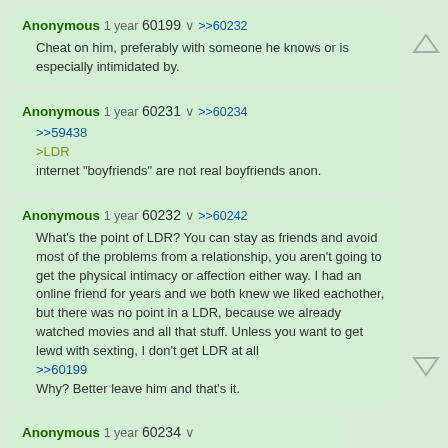Anonymous 1 year 60199 >>60232
Cheat on him, preferably with someone he knows or is especially intimidated by.
Anonymous 1 year 60231 >>60234
>>59438
>LDR
internet "boyfriends" are not real boyfriends anon.
Anonymous 1 year 60232 >>60242
What's the point of LDR? You can stay as friends and avoid most of the problems from a relationship, you aren't going to get the physical intimacy or affection either way. I had an online friend for years and we both knew we liked eachother, but there was no point in a LDR, because we already watched movies and all that stuff. Unless you want to get lewd with sexting, I don't get LDR at all
>>60199
Why? Better leave him and that's it.
Anonymous 1 year 60234
>>60231
Sorry your LDR didn't work out anon
Anonymous 1 year 60242 >>60247